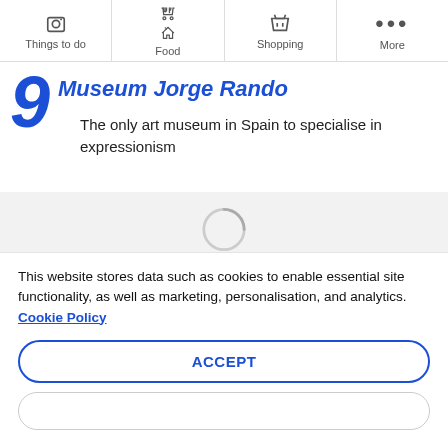Things to do | Food | Shopping | More
Museum Jorge Rando
The only art museum in Spain to specialise in expressionism
[Figure (other): Loading spinner graphic (circular spinner, partially visible at bottom of content area)]
This website stores data such as cookies to enable essential site functionality, as well as marketing, personalisation, and analytics. Cookie Policy
ACCEPT